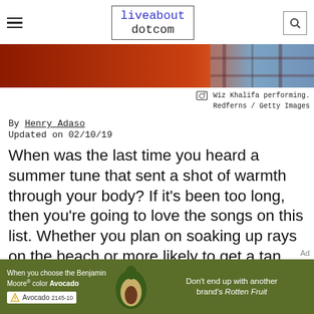liveabout dotcom
[Figure (photo): Partial image of Wiz Khalifa performing, cropped — orange/red and blue/plaid tones]
Wiz Khalifa performing. Redferns / Getty Images
By Henry Adaso
Updated on 02/10/19
When was the last time you heard a summer tune that sent a shot of warmth through your body? If it's been too long, then you're going to love the songs on this list. Whether you plan on soaking up rays on the beach or more likely to get a tan from your computer light, you'll surely find the summer hit to set you in the right mood.
[Figure (photo): Benjamin Moore Avocado color advertisement banner with avocado illustration and text: When you choose the Benjamin Moore color Avocado / Avocado 2145-10 / Don't end up with another brand's Rotten Fruit]